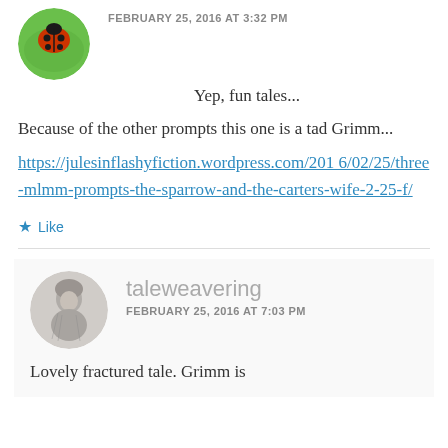FEBRUARY 25, 2016 AT 3:32 PM
Yep, fun tales...
Because of the other prompts this one is a tad Grimm...
https://julesinflashyfiction.wordpress.com/2016/02/25/three-mlmm-prompts-the-sparrow-and-the-carters-wife-2-25-f/
Like
taleweavering
FEBRUARY 25, 2016 AT 7:03 PM
Lovely fractured tale. Grimm is